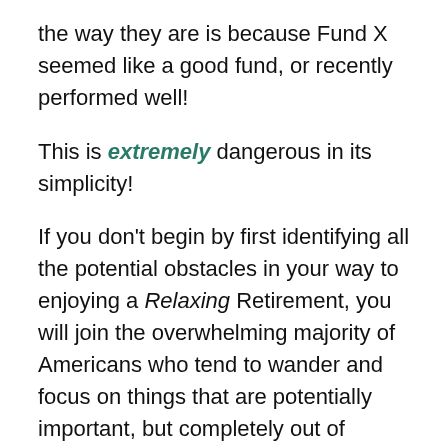the way they are is because Fund X seemed like a good fund, or recently performed well!
This is extremely dangerous in its simplicity!
If you don't begin by first identifying all the potential obstacles in your way to enjoying a Relaxing Retirement, you will join the overwhelming majority of Americans who tend to wander and focus on things that are potentially important, but completely out of context and inappropriate for their unique